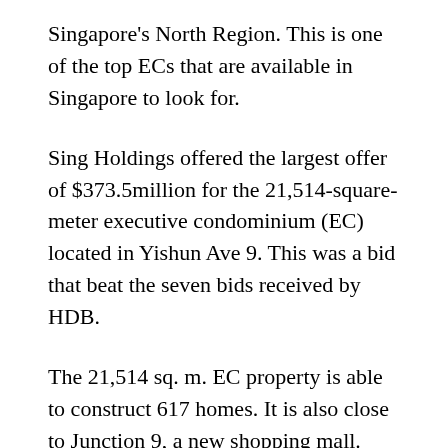Singapore's North Region. This is one of the top ECs that are available in Singapore to look for.
Sing Holdings offered the largest offer of $373.5million for the 21,514-square-meter executive condominium (EC) located in Yishun Ave 9. This was a bid that beat the seven bids received by HDB.
The 21,514 sq. m. EC property is able to construct 617 homes. It is also close to Junction 9, a new shopping mall.
The rate for land of $576/square foot for the year. This gives an estimated breakeven value of between $1000 and $1050 per square foot. The developer is planning to